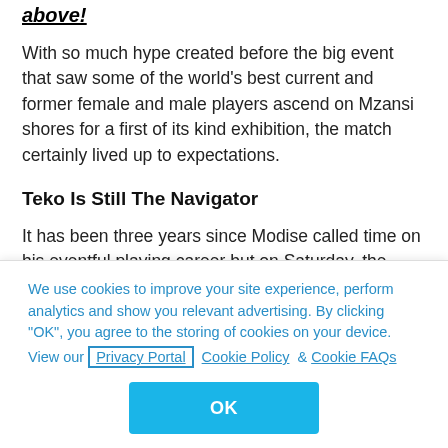above!
With so much hype created before the big event that saw some of the world's best current and former female and male players ascend on Mzansi shores for a first of its kind exhibition, the match certainly lived up to expectations.
Teko Is Still The Navigator
It has been three years since Modise called time on his eventful playing career but on Saturday, the General showed that he did not lose an inch of the
We use cookies to improve your site experience, perform analytics and show you relevant advertising. By clicking "OK", you agree to the storing of cookies on your device. View our Privacy Portal Cookie Policy & Cookie FAQs
OK